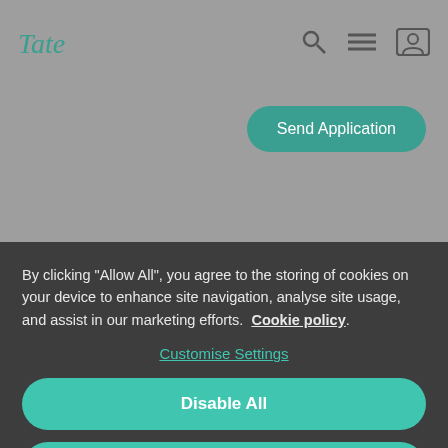[Figure (screenshot): Tate website navigation bar with logo, search icon, menu icon, and user icon on grey background]
[Figure (screenshot): Send Application teal rounded button on grey background]
Related Jobs
We're sorry to say there are currently no related jobs for the role
By clicking "Allow All", you agree to the storing of cookies on your device to enhance site navigation, analyse site usage, and assist in our marketing efforts. Cookie policy.
Customise Settings
Disable All
Allow All